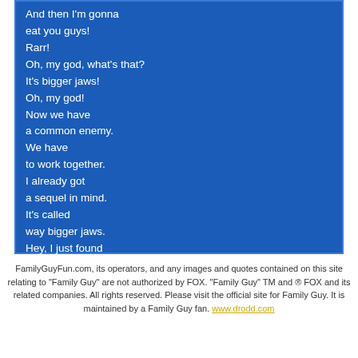And then I'm gonna eat you guys!
Rarr!
Oh, my god, what's that?
It's bigger jaws!
Oh, my god!
Now we have
a common enemy.
We have
to work together.
I already got
a sequel in mind.
It's called
way bigger jaws.
Hey, I just found
out it's November!
What the fuck happened?!
FamilyGuyFun.com, its operators, and any images and quotes contained on this site relating to "Family Guy" are not authorized by FOX. "Family Guy" TM and ® FOX and its related companies. All rights reserved. Please visit the official site for Family Guy. It is maintained by a Family Guy fan. www.drodd.com